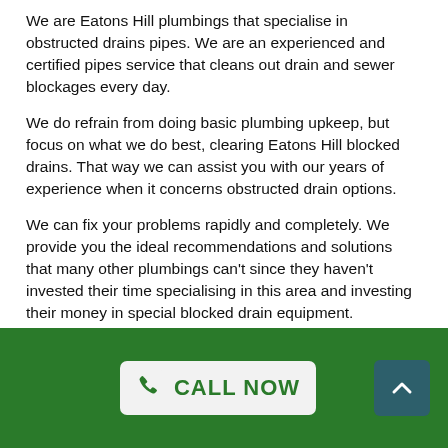We are Eatons Hill plumbings that specialise in obstructed drains pipes. We are an experienced and certified pipes service that cleans out drain and sewer blockages every day.
We do refrain from doing basic plumbing upkeep, but focus on what we do best, clearing Eatons Hill blocked drains. That way we can assist you with our years of experience when it concerns obstructed drain options.
We can fix your problems rapidly and completely. We provide you the ideal recommendations and solutions that many other plumbings can't since they haven't invested their time specialising in this area and investing their money in special blocked drain equipment.
We can offer you numerous services for your drain issues:
CALL NOW